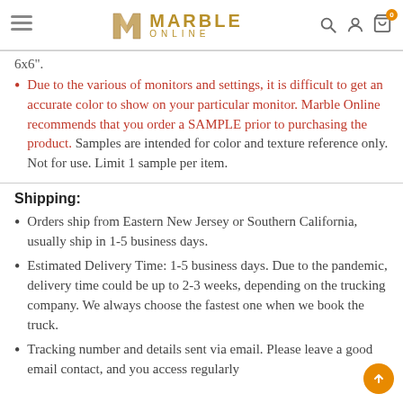[Figure (logo): Marble Online logo with stylized M icon and gold text]
6x6".
Due to the various of monitors and settings, it is difficult to get an accurate color to show on your particular monitor. Marble Online recommends that you order a SAMPLE prior to purchasing the product. Samples are intended for color and texture reference only. Not for use. Limit 1 sample per item.
Shipping:
Orders ship from Eastern New Jersey or Southern California, usually ship in 1-5 business days.
Estimated Delivery Time: 1-5 business days. Due to the pandemic, delivery time could be up to 2-3 weeks, depending on the trucking company. We always choose the fastest one when we book the truck.
Tracking number and details sent via email. Please leave a good email contact, and you access regularly.